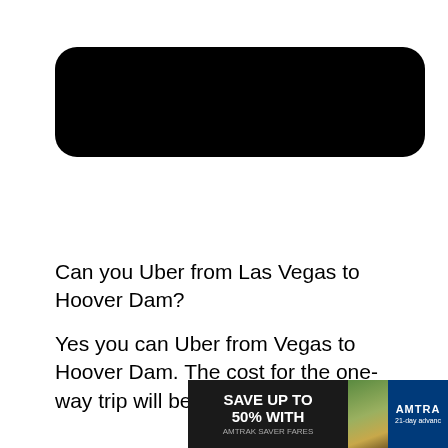[Figure (other): Black rounded rectangle bar, likely a redacted or placeholder image/logo area]
Can you Uber from Las Vegas to Hoover Dam?
Yes you can Uber from Vegas to Hoover Dam. The cost for the one-way trip will be approximately $60
[Figure (other): Advertisement banner: 'SAVE UP TO 50% WITH AMTRAK SAVER FARES' alongside Amtrak logo and train photo. Text reads '21-day advance']